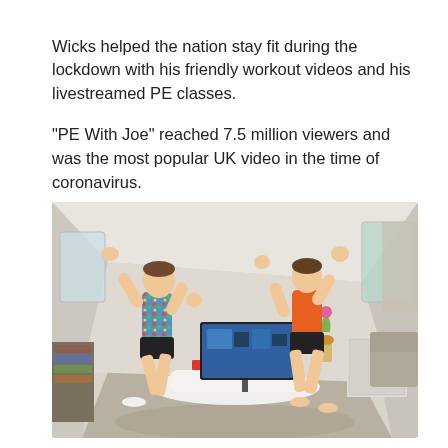Wicks helped the nation stay fit during the lockdown with his friendly workout videos and his livestreamed PE classes.

"PE With Joe" reached 7.5 million viewers and was the most popular UK video in the time of coronavirus.
[Figure (photo): Two children exercising and jumping in a living room with arms raised, a TV on a white media unit in the background, shot with a wide-angle fisheye lens. Child on the left wears a colourful floral shirt and black shorts; child on the right wears an orange top and black shorts.]